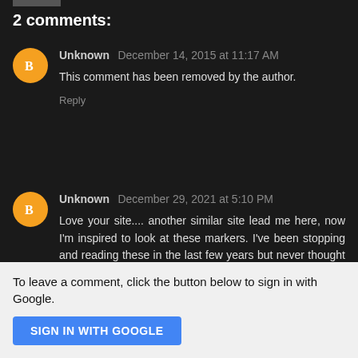2 comments:
Unknown December 14, 2015 at 11:17 AM
This comment has been removed by the author.
Reply
Unknown December 29, 2021 at 5:10 PM
Love your site.... another similar site lead me here, now I'm inspired to look at these markers. I've been stopping and reading these in the last few years but never thought to record the adventure. Now I'll start.....
Reply
To leave a comment, click the button below to sign in with Google.
SIGN IN WITH GOOGLE